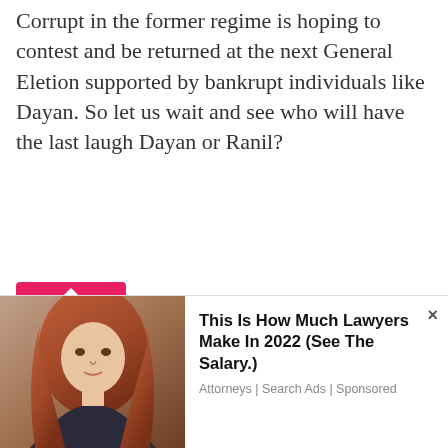Corrupt in the former regime is hoping to contest and be returned at the next General Eletion supported by bankrupt individuals like Dayan. So let us wait and see who will have the last laugh Dayan or Ranil?
[Figure (logo): Red and pink geometric diamond/rhombus pattern avatar icon for user Native Vedda]
Native Vedda / March 20, 2015
thumbs up 20  thumbs down 6
gamini
[Figure (photo): Advertisement banner showing a woman with reddish-brown hair. Ad text: This Is How Much Lawyers Make In 2022 (See The Salary.) Attorneys | Search Ads | Sponsored]